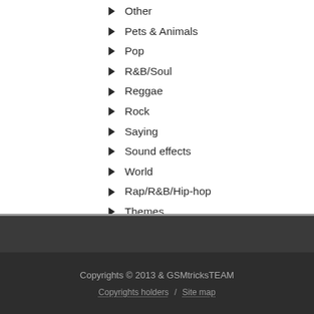Other
Pets & Animals
Pop
R&B/Soul
Reggae
Rock
Saying
Sound effects
World
Rap/R&B/Hip-hop
Themes
Galaxy s5 Epic ringtone for mobile
Copyrights © 2013 & GSMtricksTEAM
Copyrights holders / Site map